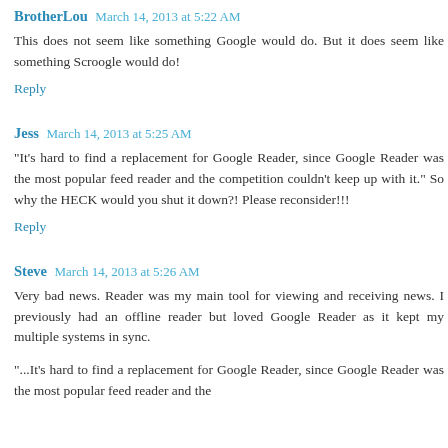BrotherLou  March 14, 2013 at 5:22 AM
This does not seem like something Google would do. But it does seem like something Scroogle would do!
Reply
Jess  March 14, 2013 at 5:25 AM
"It's hard to find a replacement for Google Reader, since Google Reader was the most popular feed reader and the competition couldn't keep up with it." So why the HECK would you shut it down?! Please reconsider!!!
Reply
Steve  March 14, 2013 at 5:26 AM
Very bad news. Reader was my main tool for viewing and receiving news. I previously had an offline reader but loved Google Reader as it kept my multiple systems in sync.
"...It's hard to find a replacement for Google Reader, since Google Reader was the most popular feed reader and the